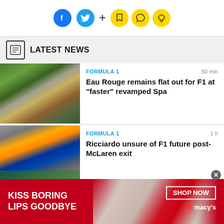Social share icons: Facebook, Twitter, + Bookmark, Snapchat, Chat
LATEST NEWS
[Figure (photo): Aerial view of Eau Rouge corner at Spa-Francorchamps racetrack under construction]
FORMULA 1   50 min
Eau Rouge remains flat out for F1 at "faster" revamped Spa
[Figure (photo): McLaren F1 cars racing in wet conditions]
FORMULA 1   1 h
Ricciardo unsure of F1 future post-McLaren exit
[Figure (photo): McLaren pit crew working on a car]
FORMULA 1   1 h
McLaren shares responsibility for Ricciardo's F1 departure
[Figure (photo): Macy's advertisement: Kiss Boring Lips Goodbye with model and red lips, SHOP NOW button]